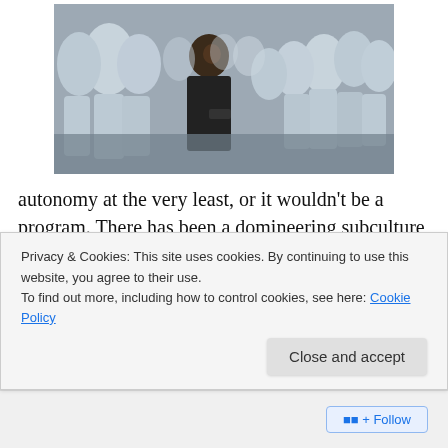[Figure (photo): Still from the movie I, Robot showing a man holding a gun surrounded by many humanoid white robots in a large indoor space.]
autonomy at the very least, or it wouldn't be a program. There has been a domineering subculture—that's been the most wealthy, prolific, and influential subculture in the technical world—that for a long time has not only promoted the idea that there's an equivalence between
Privacy & Cookies: This site uses cookies. By continuing to use this website, you agree to their use.
To find out more, including how to control cookies, see here: Cookie Policy
Close and accept